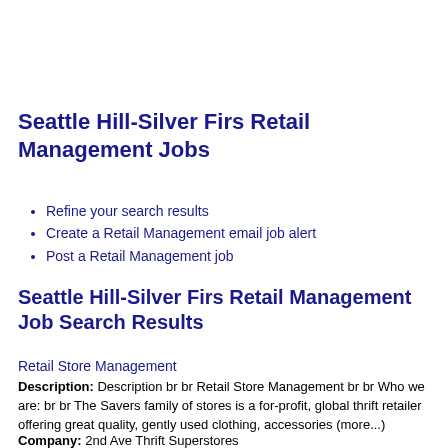Seattle Hill-Silver Firs Retail Management Jobs
Refine your search results
Create a Retail Management email job alert
Post a Retail Management job
Seattle Hill-Silver Firs Retail Management Job Search Results
Retail Store Management
Description: Description br br Retail Store Management br br Who we are: br br The Savers family of stores is a for-profit, global thrift retailer offering great quality, gently used clothing, accessories (more...)
Company: 2nd Ave Thrift Superstores